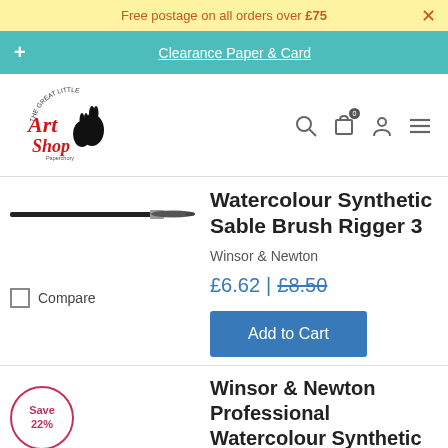Free postage on all orders over £75
Clearance Paper & Card
[Figure (logo): The Great Little Art Shop Paperchory logo with two rabbits]
Watercolour Synthetic Sable Brush Rigger 3
Winsor & Newton
£6.62 | £8.50
Add to Cart
Compare
Save 22%
Winsor & Newton Professional Watercolour Synthetic Sable Brush Rigger 3